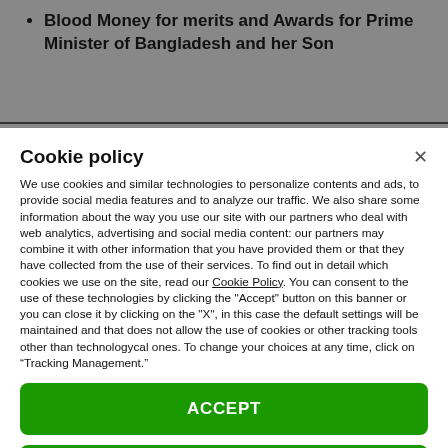Blood Money for merits and Awards for Prime Minister of Bangladesh and her Son
Cookie policy
We use cookies and similar technologies to personalize contents and ads, to provide social media features and to analyze our traffic. We also share some information about the way you use our site with our partners who deal with web analytics, advertising and social media content: our partners may combine it with other information that you have provided them or that they have collected from the use of their services. To find out in detail which cookies we use on the site, read our Cookie Policy. You can consent to the use of these technologies by clicking the "Accept" button on this banner or you can close it by clicking on the "X", in this case the default settings will be maintained and that does not allow the use of cookies or other tracking tools other than technologycal ones. To change your choices at any time, click on “Tracking Management.”
ACCEPT
TRACKERS MANAGEMENT
Show vendors | Show purposes